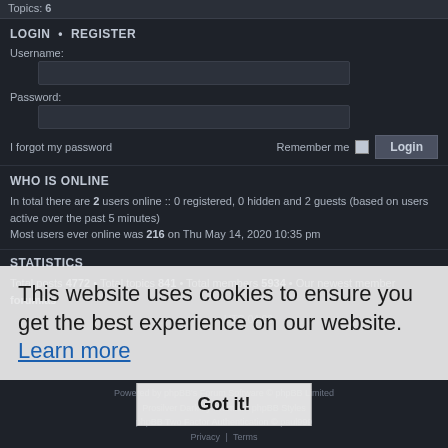Topics: 6
LOGIN • REGISTER
Username:
Password:
I forgot my password    Remember me    Login
WHO IS ONLINE
In total there are 2 users online :: 0 registered, 0 hidden and 2 guests (based on users active over the past 5 minutes)
Most users ever online was 216 on Thu May 14, 2020 10:35 pm
STATISTICS
Total posts 4772 • Total topics 841 • Total members 5934 • Our newest member forumias
This website uses cookies to ensure you get the best experience on our website. Learn more
Got it!
Powered by phpBB's Forum Software © phpBB Limited
Prosilver Dark by Premium phpBB Styles
phpBB Two Factor Authentication © paul999
Privacy | Terms